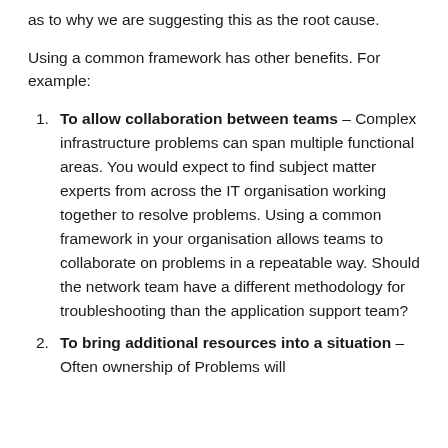as to why we are suggesting this as the root cause.
Using a common framework has other benefits. For example:
To allow collaboration between teams – Complex infrastructure problems can span multiple functional areas. You would expect to find subject matter experts from across the IT organisation working together to resolve problems. Using a common framework in your organisation allows teams to collaborate on problems in a repeatable way. Should the network team have a different methodology for troubleshooting than the application support team?
To bring additional resources into a situation – Often ownership of Problems will